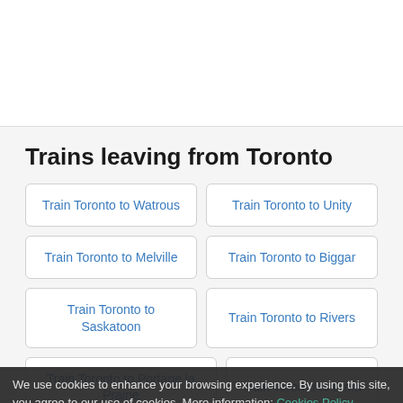Trains leaving from Toronto
Train Toronto to Watrous
Train Toronto to Unity
Train Toronto to Melville
Train Toronto to Biggar
Train Toronto to Saskatoon
Train Toronto to Rivers
Train Toronto to Portage la Prairie
Train Toronto to Elma
Train Toronto to Whiteshell
Train Toronto to Oakbank
We use cookies to enhance your browsing experience. By using this site, you agree to our use of cookies. More information: Cookies Policy